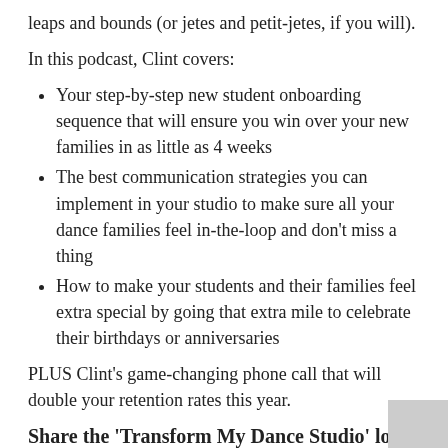leaps and bounds (or jetes and petit-jetes, if you will).
In this podcast, Clint covers:
Your step-by-step new student onboarding sequence that will ensure you win over your new families in as little as 4 weeks
The best communication strategies you can implement in your studio to make sure all your dance families feel in-the-loop and don't miss a thing
How to make your students and their families feel extra special by going that extra mile to celebrate their birthdays or anniversaries
PLUS Clint's game-changing phone call that will double your retention rates this year.
Share the ‘Transform My Dance Studio’ love and Get In Touch!